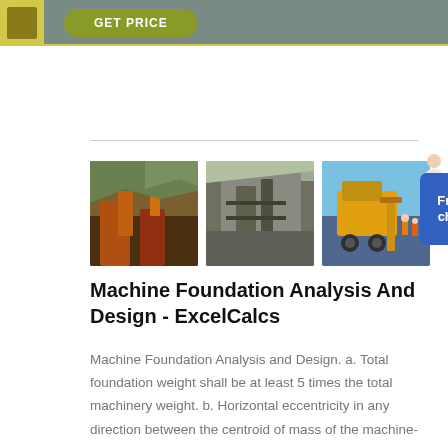GET PRICE
[Figure (photo): Three industrial mining equipment photos side by side: a mining plant with orange machinery and mountains in background, a gray quarry/crushing plant, and a yellow heavy machine with workers in blue sky setting. A free chat widget with a person figure is positioned to the right.]
Machine Foundation Analysis And Design - ExcelCalcs
Machine Foundation Analysis and Design. a. Total foundation weight shall be at least 5 times the total machinery weight. b. Horizontal eccentricity in any direction between the centroid of mass of the machine-foundation system and the centroid of the base contact area shall not exceed 5% of